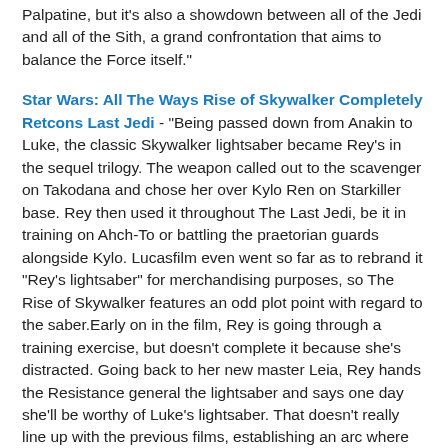Palpatine, but it's also a showdown between all of the Jedi and all of the Sith, a grand confrontation that aims to balance the Force itself."
Star Wars: All The Ways Rise of Skywalker Completely Retcons Last Jedi - "Being passed down from Anakin to Luke, the classic Skywalker lightsaber became Rey's in the sequel trilogy. The weapon called out to the scavenger on Takodana and chose her over Kylo Ren on Starkiller base. Rey then used it throughout The Last Jedi, be it in training on Ahch-To or battling the praetorian guards alongside Kylo. Lucasfilm even went so far as to rebrand it "Rey's lightsaber" for merchandising purposes, so The Rise of Skywalker features an odd plot point with regard to the saber.Early on in the film, Rey is going through a training exercise, but doesn't complete it because she's distracted. Going back to her new master Leia, Rey hands the Resistance general the lightsaber and says one day she'll be worthy of Luke's lightsaber. That doesn't really line up with the previous films, establishing an arc where Rey takes complete ownership of the weapon. She had it in the previous two movies, and this wasn't an issue."